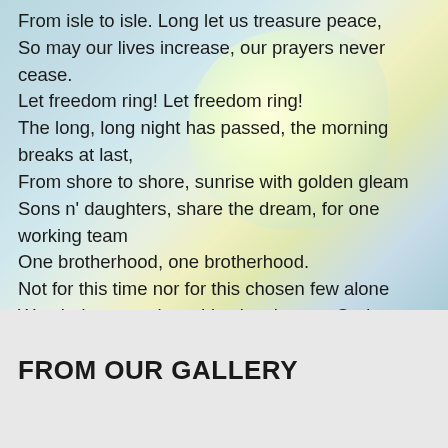From isle to isle. Long let us treasure peace,
So may our lives increase, our prayers never cease.
Let freedom ring! Let freedom ring!
The long, long night has passed, the morning breaks at last,
From shore to shore, sunrise with golden gleam
Sons n' daughters, share the dream, for one working team
One brotherhood, one brotherhood.
Not for this time nor for this chosen few alone
We pledge ourselves. Live loyal to our God.
Love country, friend and foe, oh help us by thy might!
Great God our King! Great God our King!
FROM OUR GALLERY